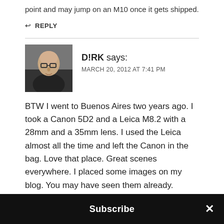point and may jump on an M10 once it gets shipped.
↩ REPLY
[Figure (photo): Avatar photo of Dirk, a bald man with glasses wearing a dark shirt]
D!RK says: MARCH 20, 2012 AT 7:41 PM
BTW I went to Buenos Aires two years ago. I took a Canon 5D2 and a Leica M8.2 with a 28mm and a 35mm lens. I used the Leica almost all the time and left the Canon in the bag. Love that place. Great scenes everywhere. I placed some images on my blog. You may have seen them already. Cheers. Keep up the good photography and writing. DIRK
Subscribe